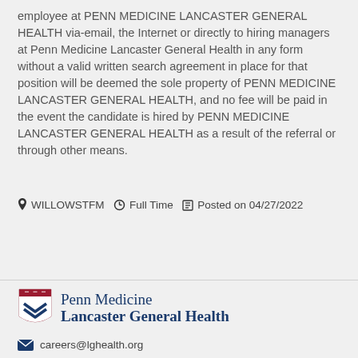employee at PENN MEDICINE LANCASTER GENERAL HEALTH via-email, the Internet or directly to hiring managers at Penn Medicine Lancaster General Health in any form without a valid written search agreement in place for that position will be deemed the sole property of PENN MEDICINE LANCASTER GENERAL HEALTH, and no fee will be paid in the event the candidate is hired by PENN MEDICINE LANCASTER GENERAL HEALTH as a result of the referral or through other means.
WILLOWSTFM  Full Time  Posted on 04/27/2022
Apply
[Figure (logo): Penn Medicine Lancaster General Health logo with shield and text]
careers@lghealth.org